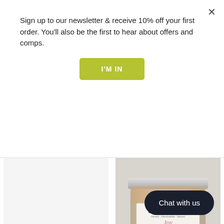Sign up to our newsletter & receive 10% off your first order. You'll also be the first to hear about offers and comps.
I'M IN
[Figure (photo): Glass jar of Soap Daze Joy Vegan Bath Mylk with silver lid, labeled with pink 'Joy' text on white label]
Mini Chamomile & Oat Bath Mylk
£10.00
Joy Bath Mylk, large
£18.00
Chat with us